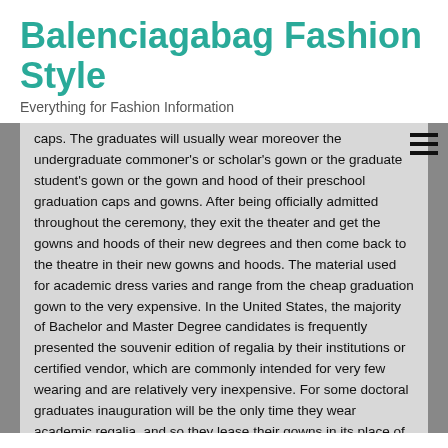Balenciagabag Fashion Style
Everything for Fashion Information
caps. The graduates will usually wear moreover the undergraduate commoner's or scholar's gown or the graduate student's gown or the gown and hood of their preschool graduation caps and gowns. After being officially admitted throughout the ceremony, they exit the theater and get the gowns and hoods of their new degrees and then come back to the theatre in their new gowns and hoods. The material used for academic dress varies and range from the cheap graduation gown to the very expensive. In the United States, the majority of Bachelor and Master Degree candidates is frequently presented the souvenir edition of regalia by their institutions or certified vendor, which are commonly intended for very few wearing and are relatively very inexpensive. For some doctoral graduates inauguration will be the only time they wear academic regalia, and so they lease their gowns in its place of buying them. Usually, ex-hire